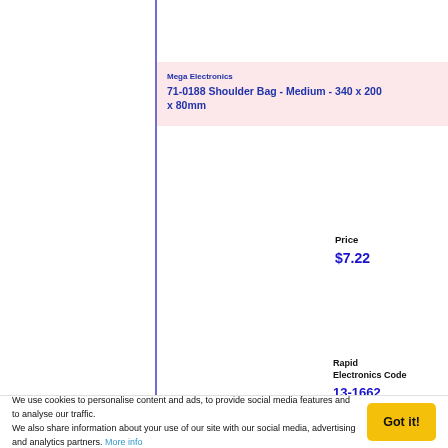Mega Electronics
71-0188 Shoulder Bag - Medium - 340 x 200 x 80mm
Price
$7.22
Rapid Electronics Code
13-1662
More info / buy
Mega Electronics
71-0189 Shoulder Bag - Large - 400 x 280 x 100mm
Price
$10.52
We use cookies to personalise content and ads, to provide social media features and to analyse our traffic.
We also share information about your use of our site with our social media, advertising and analytics partners. More info